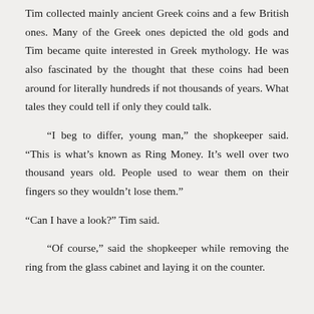Tim collected mainly ancient Greek coins and a few British ones. Many of the Greek ones depicted the old gods and Tim became quite interested in Greek mythology. He was also fascinated by the thought that these coins had been around for literally hundreds if not thousands of years. What tales they could tell if only they could talk.

“I beg to differ, young man,” the shopkeeper said. “This is what’s known as Ring Money. It’s well over two thousand years old. People used to wear them on their fingers so they wouldn’t lose them.”

“Can I have a look?” Tim said.

“Of course,” said the shopkeeper while removing the ring from the glass cabinet and laying it on the counter.